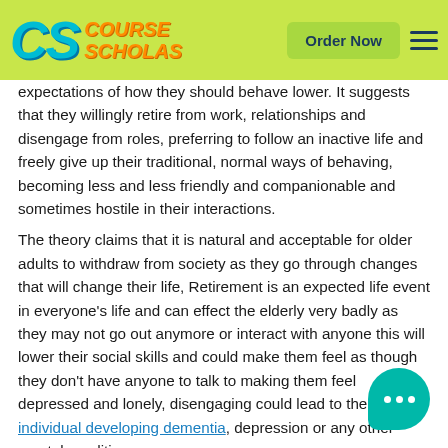CS Course Scholars | Order Now
expectations of how they should behave lower. It suggests that they willingly retire from work, relationships and disengage from roles, preferring to follow an inactive life and freely give up their traditional, normal ways of behaving, becoming less and less friendly and companionable and sometimes hostile in their interactions.
The theory claims that it is natural and acceptable for older adults to withdraw from society as they go through changes that will change their life, Retirement is an expected life event in everyone's life and can effect the elderly very badly as they may not go out anymore or interact with anyone this will lower their social skills and could make them feel as though they don't have anyone to talk to making them feel depressed and lonely, disengaging could lead to the individual developing dementia, depression or any other mental conditions.
The Elderly may disengage because of their physical they may be unable to get out of the house and meet because of disability or mental condition, they could also be